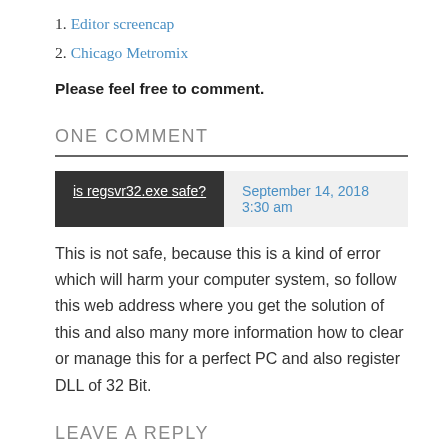1. Editor screencap
2. Chicago Metromix
Please feel free to comment.
ONE COMMENT
is regsvr32.exe safe?   September 14, 2018 3:30 am
This is not safe, because this is a kind of error which will harm your computer system, so follow this web address where you get the solution of this and also many more information how to clear or manage this for a perfect PC and also register DLL of 32 Bit.
LEAVE A REPLY